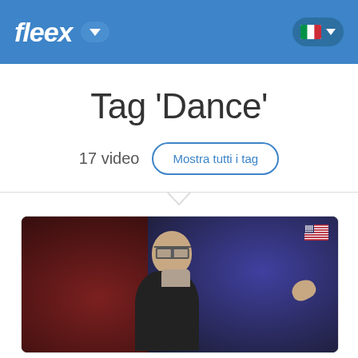fleex
Tag 'Dance'
17 video
Mostra tutti i tag
[Figure (photo): Screenshot of the Fleex website showing a tag page for 'Dance' with 17 videos, featuring a video thumbnail of a man speaking at a conference with a US flag icon, and a 'Mostra tutti i tag' button.]